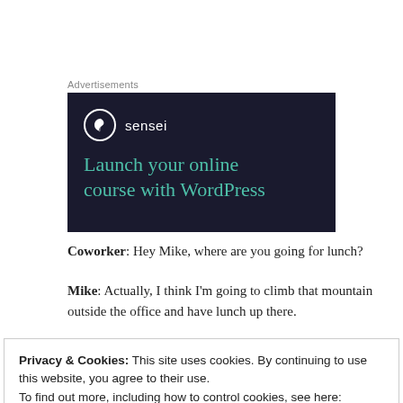Advertisements
[Figure (screenshot): Sensei advertisement banner with dark navy background showing a tree logo icon in a circle next to 'sensei' text, and teal headline text 'Launch your online course with WordPress']
Coworker: Hey Mike, where are you going for lunch?
Mike: Actually, I think I'm going to climb that mountain outside the office and have lunch up there.
Privacy & Cookies: This site uses cookies. By continuing to use this website, you agree to their use.
To find out more, including how to control cookies, see here:
Cookie Policy

Close and accept